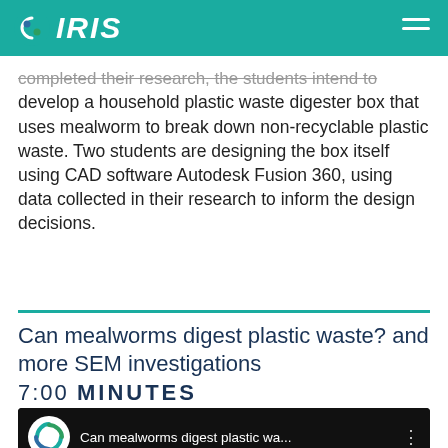IRIS
completed their research, the students intend to develop a household plastic waste digester box that uses mealworm to break down non-recyclable plastic waste. Two students are designing the box itself using CAD software Autodesk Fusion 360, using data collected in their research to inform the design decisions.
Can mealworms digest plastic waste? and more SEM investigations
7:00 MINUTES
[Figure (screenshot): YouTube video thumbnail showing 'Can mealworms digest plastic wa...' with IRIS logo and Liverpool Life Sciences UTC branding, and subtitle 'Creating and Running a Student-Led SEM Programme to Promote']